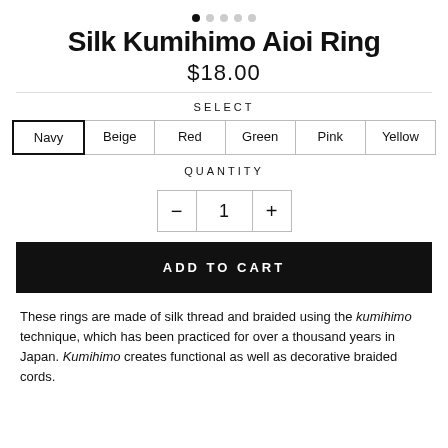[Figure (other): Pagination dots — 5 circles, first filled black, rest light gray]
Silk Kumihimo Aioi Ring
$18.00
SELECT
Navy  Beige  Red  Green  Pink  Yellow
QUANTITY
— 1 +
ADD TO CART
These rings are made of silk thread and braided using the kumihimo technique, which has been practiced for over a thousand years in Japan. Kumihimo creates functional as well as decorative braided cords.